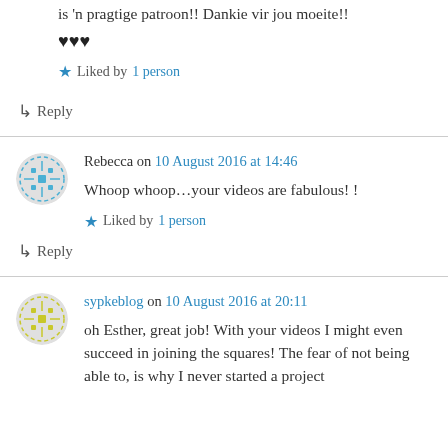is 'n pragtige patroon!! Dankie vir jou moeite!!
♥♥♥
★ Liked by 1 person
↳ Reply
Rebecca on 10 August 2016 at 14:46
Whoop whoop…your videos are fabulous! !
★ Liked by 1 person
↳ Reply
sypkeblog on 10 August 2016 at 20:11
oh Esther, great job! With your videos I might even succeed in joining the squares! The fear of not being able to, is why I never started a project